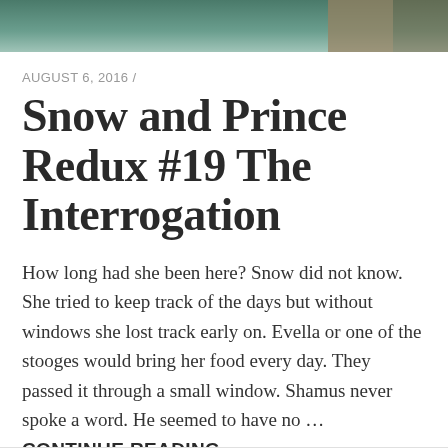[Figure (photo): Partial photo strip at top of page showing a teal/green wall background with a brown element on the right]
AUGUST 6, 2016 /
Snow and Prince Redux #19 The Interrogation
How long had she been here?  Snow did not know.  She tried to keep track of the days but without windows she lost track early on.  Evella or one of the stooges would bring her food every day.  They passed it through a small window.  Shamus never spoke a word.  He seemed to have no … CONTINUE READING